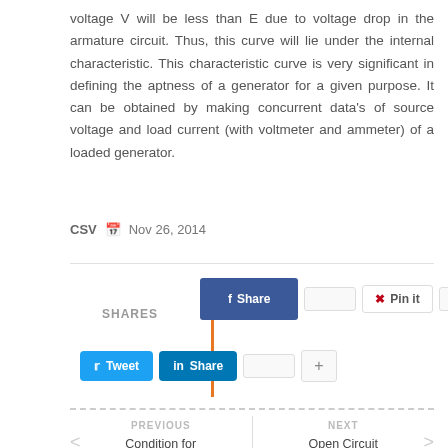voltage V will be less than E due to voltage drop in the armature circuit. Thus, this curve will lie under the internal characteristic. This characteristic curve is very significant in defining the aptness of a generator for a given purpose. It can be obtained by making concurrent data's of source voltage and load current (with voltmeter and ammeter) of a loaded generator.
CSV  Nov 26, 2014
[Figure (infographic): Social sharing buttons: Facebook Share, Pinterest Pin it, Tweet, LinkedIn Share, plus button. SHARES label with orange vertical bar divider.]
PREVIOUS  Condition for Maximum Efficiency in
NEXT  Open Circuit Characteristic of a DC